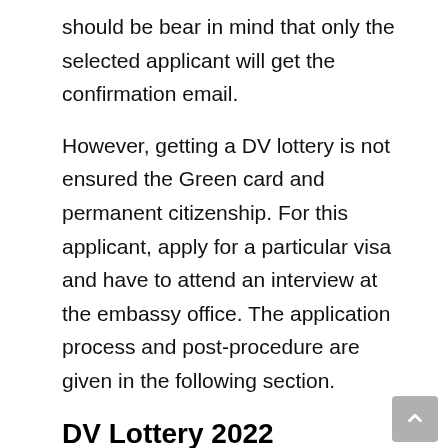should be bear in mind that only the selected applicant will get the confirmation email.
However, getting a DV lottery is not ensured the Green card and permanent citizenship. For this applicant, apply for a particular visa and have to attend an interview at the embassy office. The application process and post-procedure are given in the following section.
DV Lottery 2022 Bangladesh Application Form Download
As Bangladesh is not allowed to participate in the 2022 DV lottery Bangladesh program, but